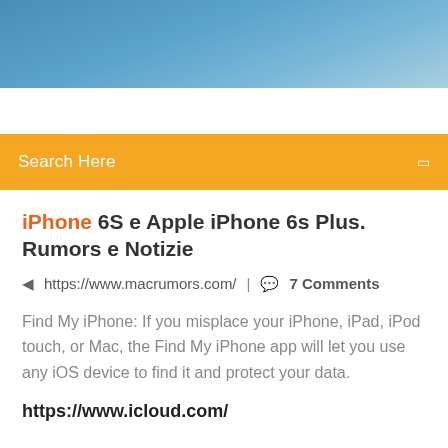[Figure (photo): Blue sky gradient header image banner]
Search Here
iPhone 6S e Apple iPhone 6s Plus. Rumors e Notizie
https://www.macrumors.com/  |  7 Comments
Find My iPhone: If you misplace your iPhone, iPad, iPod touch, or Mac, the Find My iPhone app will let you use any iOS device to find it and protect your data.
https://www.icloud.com/